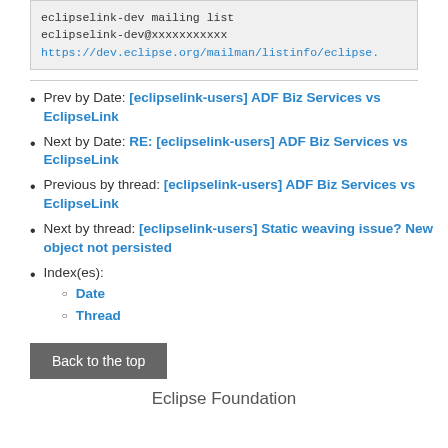eclipselink-dev mailing list
eclipselink-dev@xxxxxxxxxxx
https://dev.eclipse.org/mailman/listinfo/eclipse.
Prev by Date: [eclipselink-users] ADF Biz Services vs EclipseLink
Next by Date: RE: [eclipselink-users] ADF Biz Services vs EclipseLink
Previous by thread: [eclipselink-users] ADF Biz Services vs EclipseLink
Next by thread: [eclipselink-users] Static weaving issue? New object not persisted
Index(es):
Date
Thread
Back to the top
Eclipse Foundation